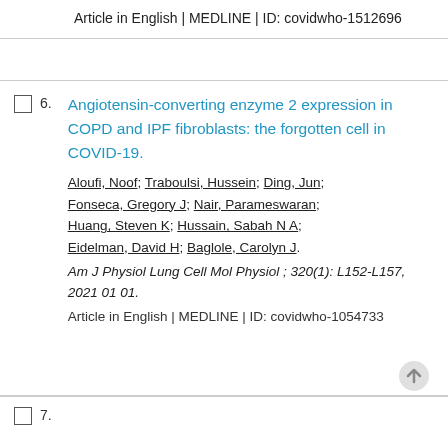Article in English | MEDLINE | ID: covidwho-1512696
6. Angiotensin-converting enzyme 2 expression in COPD and IPF fibroblasts: the forgotten cell in COVID-19. Aloufi, Noof; Traboulsi, Hussein; Ding, Jun; Fonseca, Gregory J; Nair, Parameswaran; Huang, Steven K; Hussain, Sabah N A; Eidelman, David H; Baglole, Carolyn J. Am J Physiol Lung Cell Mol Physiol; 320(1): L152-L157, 2021 01 01. Article in English | MEDLINE | ID: covidwho-1054733
7.